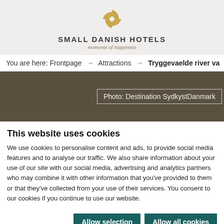[Figure (logo): Small Danish Hotels logo with golden pinwheel/flower icon and text 'SMALL DANISH HOTELS moments of happiness']
You are here: Frontpage → Attractions → Tryggevaelde river va
[Figure (photo): Dark brownish-olive background image area with caption box reading 'Photo: Destination SydkystDanmark']
This website uses cookies
We use cookies to personalise content and ads, to provide social media features and to analyse our traffic. We also share information about your use of our site with our social media, advertising and analytics partners who may combine it with other information that you've provided to them or that they've collected from your use of their services. You consent to our cookies if you continue to use our website.
Allow selection  Allow all cookies
Necessary  Preferences  Statistics  Marketing  Show details